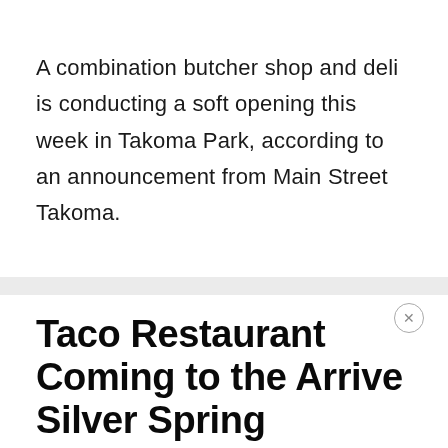A combination butcher shop and deli is conducting a soft opening this week in Takoma Park, according to an announcement from Main Street Takoma.
Taco Restaurant Coming to the Arrive Silver Spring Building
Mike Diegel | February 9, 2022 | Silver Spring